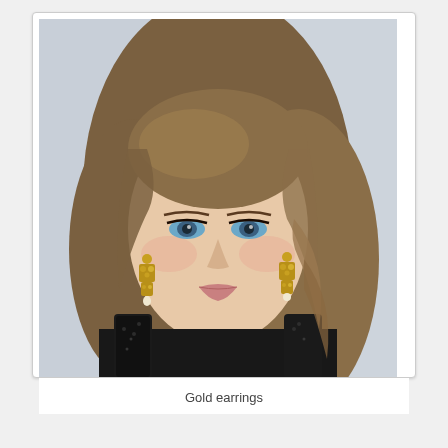[Figure (photo): Portrait photo of a young woman with long wavy brown hair and blue eyes, wearing gold chandelier earrings and a black lace dress, photographed against a light background.]
Gold earrings